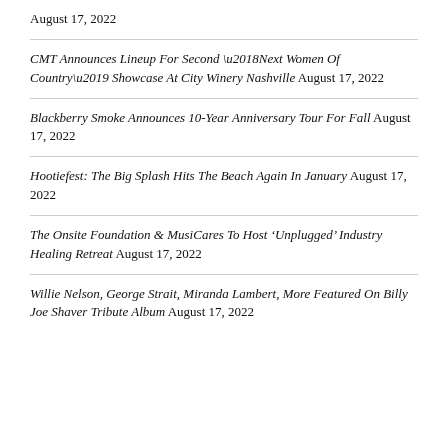August 17, 2022
CMT Announces Lineup For Second ‘Next Women Of Country’ Showcase At City Winery Nashville August 17, 2022
Blackberry Smoke Announces 10-Year Anniversary Tour For Fall August 17, 2022
Hootiefest: The Big Splash Hits The Beach Again In January August 17, 2022
The Onsite Foundation & MusiCares To Host ‘Unplugged’ Industry Healing Retreat August 17, 2022
Willie Nelson, George Strait, Miranda Lambert, More Featured On Billy Joe Shaver Tribute Album August 17, 2022